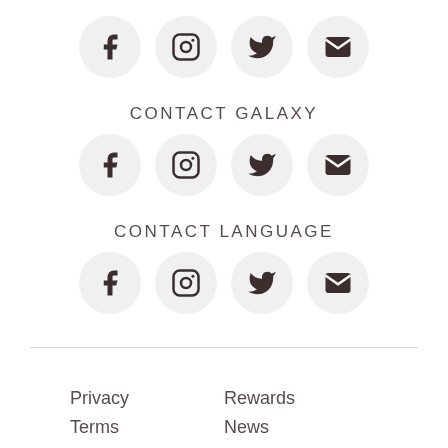[Figure (other): Row of four social media icon circles: Facebook, Instagram, Twitter, Email (top row)]
CONTACT GALAXY
[Figure (other): Row of four social media icon circles: Facebook, Instagram, Twitter, Email (Contact Galaxy row)]
CONTACT LANGUAGE
[Figure (other): Row of four social media icon circles: Facebook, Instagram, Twitter, Email (Contact Language row)]
Privacy   Rewards   Terms   News